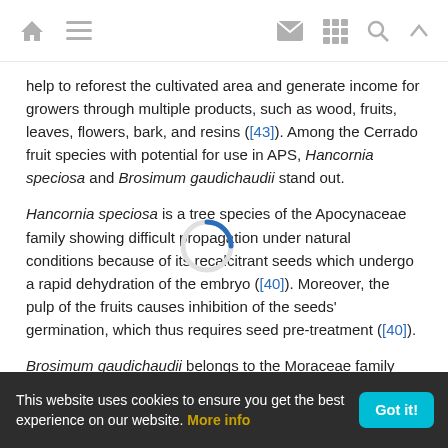Navigation header with home, menu, mail, grid, search, and up icons
help to reforest the cultivated area and generate income for growers through multiple products, such as wood, fruits, leaves, flowers, bark, and resins ([43]). Among the Cerrado fruit species with potential for use in APS, Hancornia speciosa and Brosimum gaudichaudii stand out.
Hancornia speciosa is a tree species of the Apocynaceae family showing difficult propagation under natural conditions because of its recalcitrant seeds which undergo a rapid dehydration of the embryo ([40]). Moreover, the pulp of the fruits causes inhibition of the seeds' germination, which thus requires seed pre-treatment ([40]).
Brosimum gaudichaudii belongs to the Moraceae family and is
This website uses cookies to ensure you get the best experience on our website. More info  Got it!